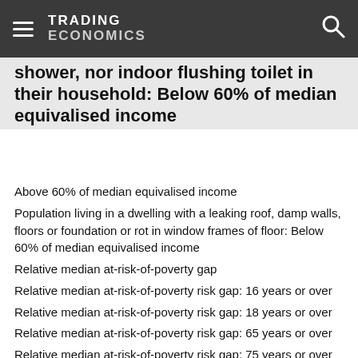TRADING ECONOMICS
shower, nor indoor flushing toilet in their household: Below 60% of median equivalised income
Above 60% of median equivalised income
Population living in a dwelling with a leaking roof, damp walls, floors or foundation or rot in window frames of floor: Below 60% of median equivalised income
Relative median at-risk-of-poverty gap
Relative median at-risk-of-poverty risk gap: 16 years or over
Relative median at-risk-of-poverty risk gap: 18 years or over
Relative median at-risk-of-poverty risk gap: 65 years or over
Relative median at-risk-of-poverty risk gap: 75 years or over
Relative median at-risk-of-poverty risk gap: From 16 to 64 years
Relative median at-risk-of-poverty risk gap: Less than 16 years